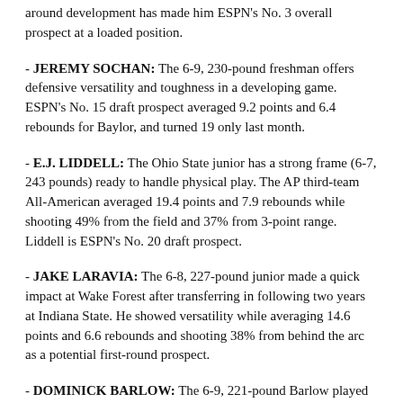- JEREMY SOCHAN: The 6-9, 230-pound freshman offers defensive versatility and toughness in a developing game. ESPN's No. 15 draft prospect averaged 9.2 points and 6.4 rebounds for Baylor, and turned 19 only last month.
- E.J. LIDDELL: The Ohio State junior has a strong frame (6-7, 243 pounds) ready to handle physical play. The AP third-team All-American averaged 19.4 points and 7.9 rebounds while shooting 49% from the field and 37% from 3-point range. Liddell is ESPN's No. 20 draft prospect.
- JAKE LARAVIA: The 6-8, 227-pound junior made a quick impact at Wake Forest after transferring in following two years at Indiana State. He showed versatility while averaging 14.6 points and 6.6 rebounds and shooting 38% from behind the arc as a potential first-round prospect.
- DOMINICK BARLOW: The 6-9, 221-pound Barlow played for the Overtime Elite developmental program for top prospects who bypass college basketball. He's a potential second-round pick.
---